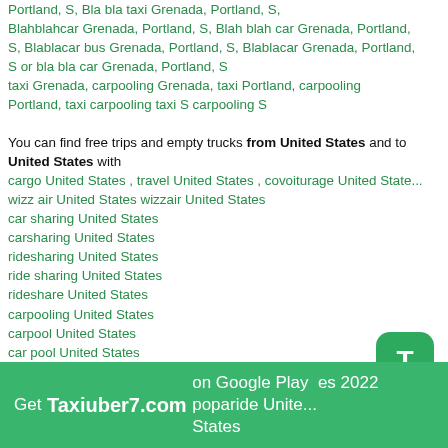Portland, S, Bla bla taxi Grenada, Portland, S, Blahblahcar Grenada, Portland, S, Blah blah car Grenada, Portland, S, Blablacar bus Grenada, Portland, S, Blablacar Grenada, Portland, S or bla bla car Grenada, Portland, S
taxi Grenada, carpooling Grenada, taxi Portland, carpooling Portland, taxi carpooling taxi S carpooling S
You can find free trips and empty trucks from United States and to United States with
cargo United States , travel United States , covoiturage United States wizz air United States wizzair United States
car sharing United States
carsharing United States
ridesharing United States
ride sharing United States
rideshare United States
carpooling United States
carpool United States
car pool United States
vanpooling United States
autostop United States
auto stop United States
avtostop United States
avto stop United States
Get Taxiuber7.com on Google Play es 2022 poparide United States